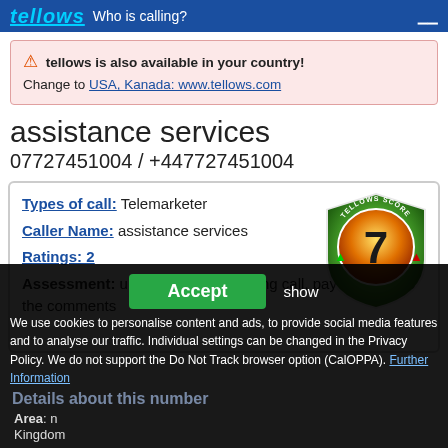tellows Who is calling?
tellows is also available in your country! Change to USA, Kanada: www.tellows.com
assistance services
07727451004 / +447727451004
Types of call: Telemarketer
Caller Name: assistance services
Ratings: 2
Assessment: untrustworthy, annoying call, pay attention to the comments
[Figure (infographic): Tellows Score badge showing score of 7 on a shield-shaped graphic with green and orange gradient]
Accept  show
We use cookies to personalise content and ads, to provide social media features and to analyse our traffic. Individual settings can be changed in the Privacy Policy. We do not support the Do Not Track browser option (CalOPPA).  Further Information
Details about this number
Area:
Kingdom